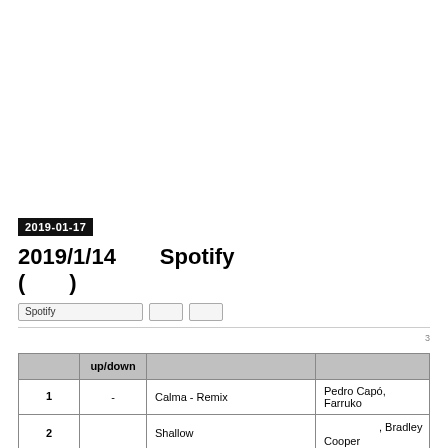2019-01-17
2019/1/14　Spotify　　　　　　　(　)
Spotify
3
| 　　 | up/down | 　　 | 　　　　　　　 |
| --- | --- | --- | --- |
| 1　 | - | Calma - Remix | Pedro Capó, Farruko |
| 2　 |  | Shallow | 　　　　, Bradley Cooper |